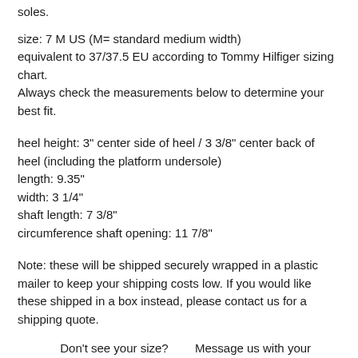soles.
size: 7 M US (M= standard medium width)
equivalent to 37/37.5 EU according to Tommy Hilfiger sizing chart.
Always check the measurements below to determine your best fit.
heel height: 3" center side of heel / 3 3/8" center back of heel (including the platform undersole)
length: 9.35"
width: 3 1/4"
shaft length: 7 3/8"
circumference shaft opening: 11 7/8"
Note: these will be shipped securely wrapped in a plastic mailer to keep your shipping costs low. If you would like these shipped in a box instead, please contact us for a shipping quote.
Don't see your size?      Message us with your